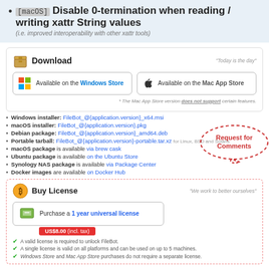[macOS] Disable 0-termination when reading / writing xattr String values (i.e. improved interoperability with other xattr tools)
Download
"Today is the day"
[Figure (screenshot): Available on the Windows Store button]
[Figure (screenshot): Available on the Mac App Store button]
* The Mac App Store version does not support certain features.
Windows installer: FileBot_@{application.version}_x64.msi
macOS installer: FileBot_@{application.version}.pkg
Debian package: FileBot_@{application.version}_amd64.deb
Portable tarball: FileBot_@{application.version}-portable.tar.xz for Linux, BSD and Solaris
macOS package is available via brew cask
Ubuntu package is available on the Ubuntu Store
Synology NAS package is available via Package Center
Docker images are available on Docker Hub
[Figure (illustration): Request for Comments speech bubble in red dashed border]
Buy License
"We work to better ourselves"
[Figure (screenshot): Purchase a 1 year universal license button with price US$8.00 (incl. tax)]
A valid license is required to unlock FileBot.
A single license is valid on all platforms and can be used on up to 5 machines.
Windows Store and Mac App Store purchases do not require a separate license.